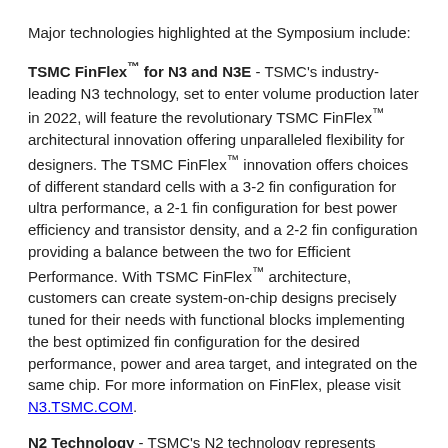Major technologies highlighted at the Symposium include:
TSMC FinFlex™ for N3 and N3E - TSMC's industry-leading N3 technology, set to enter volume production later in 2022, will feature the revolutionary TSMC FinFlex™ architectural innovation offering unparalleled flexibility for designers. The TSMC FinFlex™ innovation offers choices of different standard cells with a 3-2 fin configuration for ultra performance, a 2-1 fin configuration for best power efficiency and transistor density, and a 2-2 fin configuration providing a balance between the two for Efficient Performance. With TSMC FinFlex™ architecture, customers can create system-on-chip designs precisely tuned for their needs with functional blocks implementing the best optimized fin configuration for the desired performance, power and area target, and integrated on the same chip. For more information on FinFlex, please visit N3.TSMC.COM.
N2 Technology - TSMC's N2 technology represents another remarkable advancement over N3, with 10-15% speed improvement at the same power, or 25-30% power reduction at